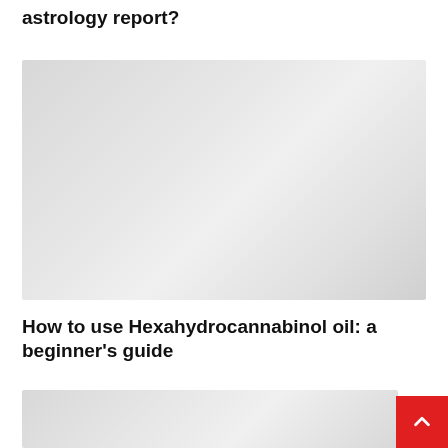astrology report?
[Figure (photo): Large grey placeholder image]
How to use Hexahydrocannabinol oil: a beginner's guide
[Figure (photo): Partial grey placeholder image at bottom with red scroll-to-top button]